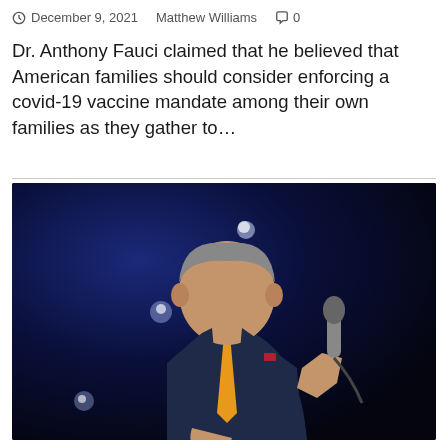December 9, 2021    Matthew Williams    0
Dr. Anthony Fauci claimed that he believed that American families should consider enforcing a covid-19 vaccine mandate among their own families as they gather to…
[Figure (photo): A man in a dark navy suit with an orange tie and light blue shirt, holding a microphone, speaking on stage against a dark blue background with bokeh light spots.]